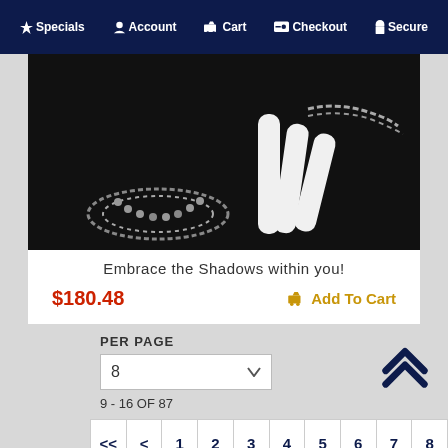Specials   Account   Cart   Checkout   Secure
[Figure (photo): Dark background product photo showing jewelry - a bracelet made of small metallic beads and what appears to be a white hand display prop with chain accessories]
Embrace the Shadows within you!
$180.48
Add To Cart
PER PAGE
8
9 - 16 OF 87
<< < 1 2 3 4 5 6 7 8
9 10 11 > >>